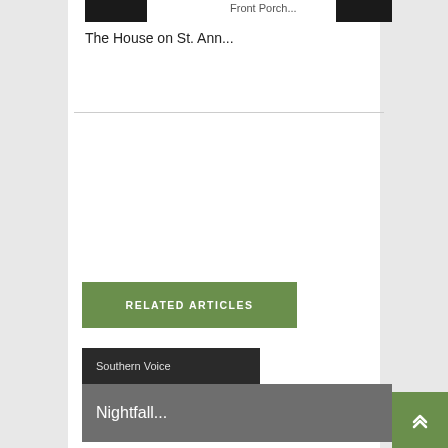[Figure (screenshot): Dark thumbnail image strip at top left]
Front Porch...
[Figure (screenshot): Dark thumbnail image strip at top right]
The House on St. Ann...
RELATED ARTICLES
Southern Voice
Nightfall...
Southern Voice
Commerce...
Southern Voice
Wide Water...